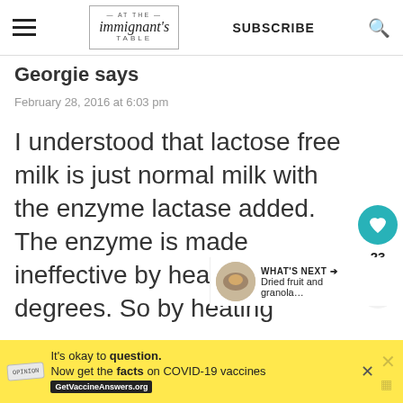At The Immigrant's Table — SUBSCRIBE
Georgie says
February 28, 2016 at 6:03 pm
I understood that lactose free milk is just normal milk with the enzyme lactase added. The enzyme is made ineffective by heating to 135 degrees. So by heating
[Figure (other): Circular teal heart/like button with count 23, and a share button below]
[Figure (other): What's Next widget showing dried fruit and granola thumbnail]
It's okay to question. Now get the facts on COVID-19 vaccines  GetVaccineAnswers.org